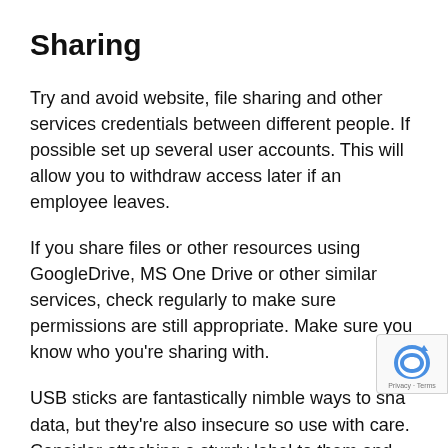Sharing
Try and avoid website, file sharing and other services credentials between different people. If possible set up several user accounts. This will allow you to withdraw access later if an employee leaves.
If you share files or other resources using GoogleDrive, MS One Drive or other similar services, check regularly to make sure permissions are still appropriate. Make sure you know who you're sharing with.
USB sticks are fantastically nimble ways to sha data, but they're also insecure so use with care. Consider attaching a sturdy label to them and